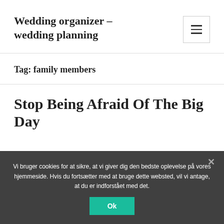Wedding organizer – wedding planning
Tag: family members
Stop Being Afraid Of The Big Day
Vi bruger cookies for at sikre, at vi giver dig den bedste oplevelse på vores hjemmeside. Hvis du fortsætter med at bruge dette websted, vil vi antage, at du er indforstået med det.
Ok